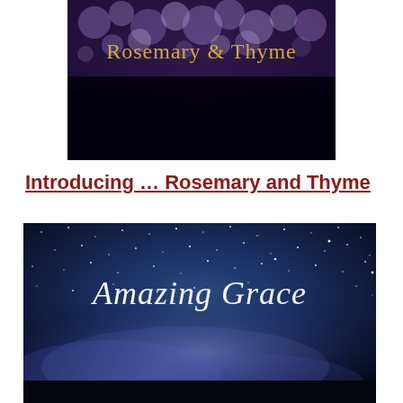[Figure (photo): Album cover image for 'Rosemary & Thyme' — dark background with blurred purple/white bokeh lights at top and text 'Rosemary & Thyme' in gold/yellow serif font]
Introducing … Rosemary and Thyme
[Figure (photo): Album cover image for 'Amazing Grace' — night sky with stars and Milky Way galaxy, blue and purple tones, with text 'Amazing Grace' in white cursive/italic font]